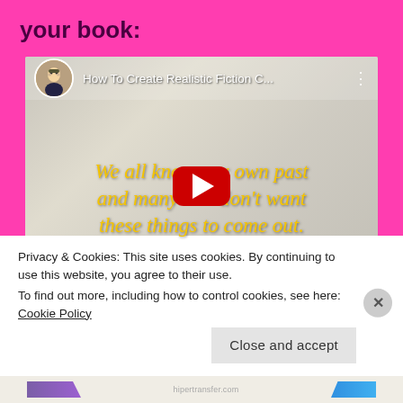your book:
[Figure (screenshot): YouTube video thumbnail showing the title 'How To Create Realistic Fiction C...' with a cartoon avatar and yellow italic text on a blurred background: 'We all know our own past and many don't want these things to come out.' with a YouTube play button in the center.]
Privacy & Cookies: This site uses cookies. By continuing to use this website, you agree to their use.
To find out more, including how to control cookies, see here: Cookie Policy
Close and accept